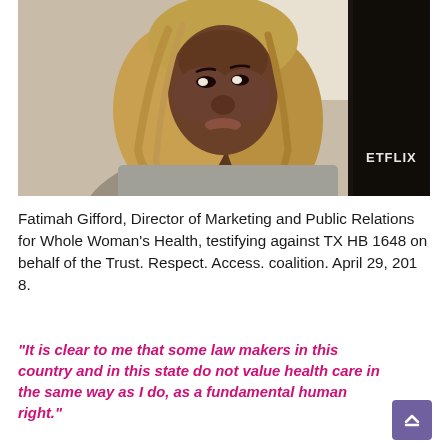[Figure (photo): A woman with shoulder-length blonde hair and dark skin wearing a light gray top, looking to the side. Netflix watermark visible in bottom right corner of the image.]
Fatimah Gifford, Director of Marketing and Public Relations for Whole Woman's Health, testifying against TX HB 1648 on behalf of the Trust. Respect. Access. coalition. April 29, 201 8.
“It is clear to me that some law makers in this country and in this state do not value health care in the same way as I do, as a fundamental human right.”